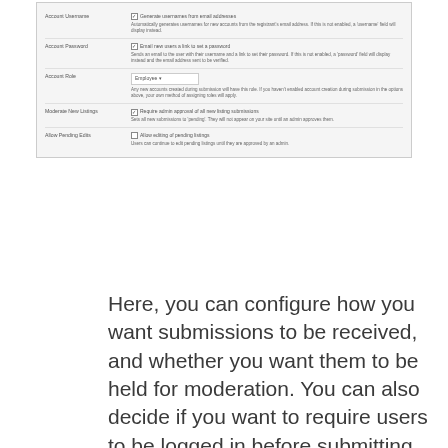[Figure (screenshot): Screenshot of a settings/admin panel with rows: Account Username, Account Password, Account Role, Moderate New Listings, Allow Pending Edits — each with checkbox options and description text.]
Here, you can configure how you want submissions to be received, and whether you want them to be held for moderation. You can also decide if you want to require users to be logged in before submitting jobs, and how long listings will be active before expiring.
When you're done, don't forget to save your changes!
Step 3: Place the Job Board